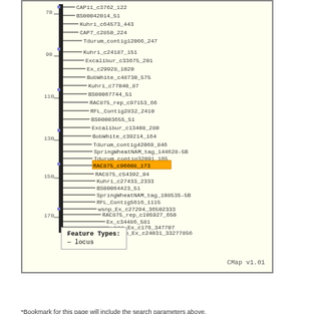[Figure (other): Genetic/linkage map diagram showing chromosome markers on a yellow background. A vertical black bar (chromosome) is shown with tick marks and position labels (70, 90, 110, 130, 150, 170) on the left. Horizontal lines extend to the right with marker names in monospace font. One marker 'RAC875_c96608_173' is highlighted with an orange/yellow box. A legend box shows Feature Types: — locus. CMap v1.01 label at bottom right.]
Save Link*
*Bookmark for this page will include the search parameters above.